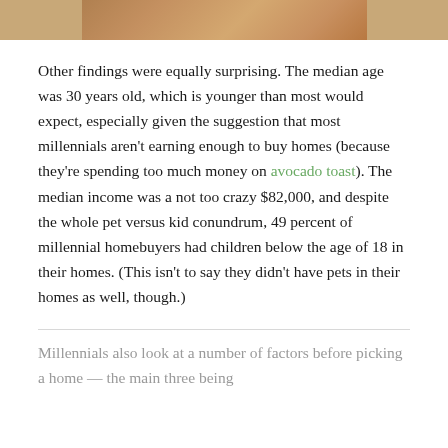[Figure (photo): Partial photo of a wooden surface or table, cropped at the top of the page, warm brown tones]
Other findings were equally surprising. The median age was 30 years old, which is younger than most would expect, especially given the suggestion that most millennials aren't earning enough to buy homes (because they're spending too much money on avocado toast). The median income was a not too crazy $82,000, and despite the whole pet versus kid conundrum, 49 percent of millennial homebuyers had children below the age of 18 in their homes. (This isn't to say they didn't have pets in their homes as well, though.)
Millennials also look at a number of factors before picking a home — the main three being